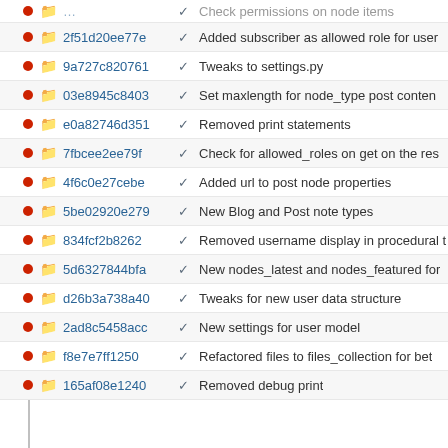2f51d20ee77e ✓ Added subscriber as allowed role for user
9a727c820761 ✓ Tweaks to settings.py
03e8945c8403 ✓ Set maxlength for node_type post content
e0a82746d351 ✓ Removed print statements
7fbcee2ee79f ✓ Check for allowed_roles on get on the res
4f6c0e27cebe ✓ Added url to post node properties
5be02920e279 ✓ New Blog and Post note types
834fcf2b8262 ✓ Removed username display in procedural
5d6327844bfa ✓ New nodes_latest and nodes_featured for
d26b3a738a40 ✓ Tweaks for new user data structure
2ad8c5458acc ✓ New settings for user model
f8e7e7ff1250 ✓ Refactored files to files_collection for bet
165af08e1240 ✓ Removed debug print